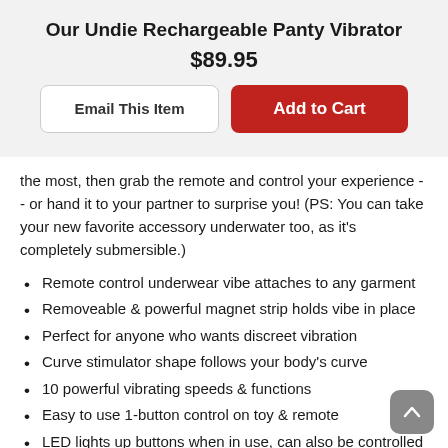Our Undie Rechargeable Panty Vibrator
$89.95
Email This Item
Add to Cart
the most, then grab the remote and control your experience -- or hand it to your partner to surprise you! (PS: You can take your new favorite accessory underwater too, as it's completely submersible.)
Remote control underwear vibe attaches to any garment
Removeable & powerful magnet strip holds vibe in place
Perfect for anyone who wants discreet vibration
Curve stimulator shape follows your body's curve
10 powerful vibrating speeds & functions
Easy to use 1-button control on toy & remote
LED lights up buttons when in use, can also be controlled locally